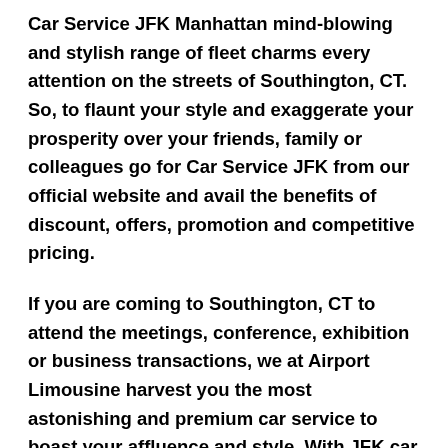Car Service JFK Manhattan mind-blowing and stylish range of fleet charms every attention on the streets of Southington, CT. So, to flaunt your style and exaggerate your prosperity over your friends, family or colleagues go for Car Service JFK from our official website and avail the benefits of discount, offers, promotion and competitive pricing.
If you are coming to Southington, CT to attend the meetings, conference, exhibition or business transactions, we at Airport Limousine harvest you the most astonishing and premium car service to boast your affluence and style. With JFK car service, you get the most generous, uniformed, and highly professional chauffeur service with convenience and private ride towards your